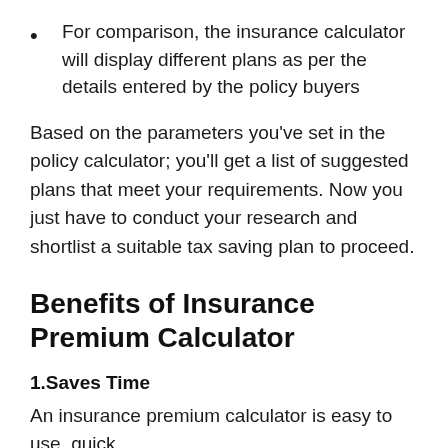For comparison, the insurance calculator will display different plans as per the details entered by the policy buyers
Based on the parameters you've set in the policy calculator; you'll get a list of suggested plans that meet your requirements. Now you just have to conduct your research and shortlist a suitable tax saving plan to proceed.
Benefits of Insurance Premium Calculator
1.Saves Time
An insurance premium calculator is easy to use, quick...